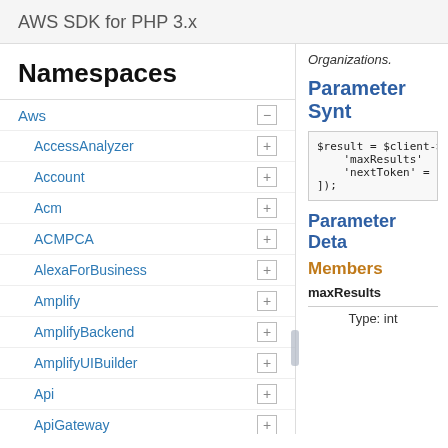AWS SDK for PHP 3.x
Namespaces
Aws
AccessAnalyzer
Account
Acm
ACMPCA
AlexaForBusiness
Amplify
AmplifyBackend
AmplifyUIBuilder
Api
ApiGateway
ApiGatewayManagementApi
Organizations.
Parameter Synt
$result = $client->
    'maxResults'
    'nextToken' =
]);
Parameter Deta
Members
maxResults
Type: int